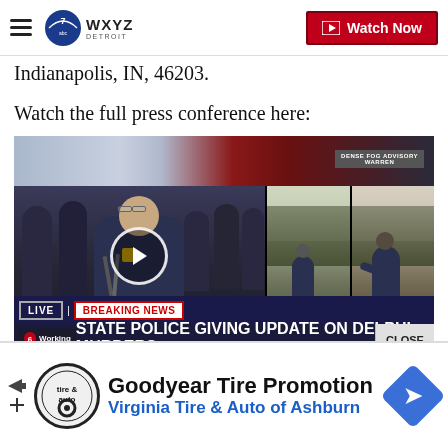WXYZ Detroit — Watch Now
Indianapolis, IN, 46203.
Watch the full press conference here:
[Figure (screenshot): Video thumbnail showing a live breaking news broadcast. Left panel: police press conference with uniformed officer at podium with microphones, flanked by officials. Center/right panels: two outdoor photos of a person walking on a bridge/trail. Breaking news chyron reads: 'STATE POLICE GIVING UPDATE ON DELPHI MURDERS'. Logos for Working 6 and abc visible. Time shown 10:26, 55°. 'Posted by WRTV' overlay. Close button visible.]
[Figure (screenshot): Advertisement banner: Goodyear Tire Promotion — Virginia Tire & Auto of Ashburn, with tire & auto logo and blue navigation arrow icon.]